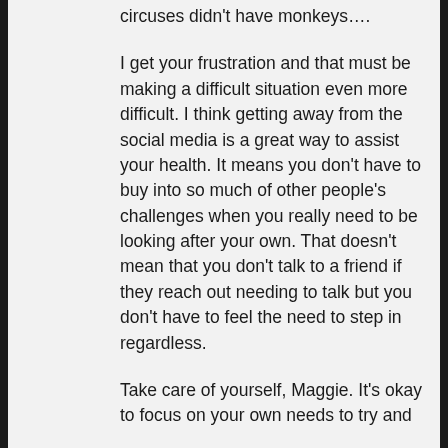circuses didn't have monkeys….
I get your frustration and that must be making a difficult situation even more difficult. I think getting away from the social media is a great way to assist your health. It means you don't have to buy into so much of other people's challenges when you really need to be looking after your own. That doesn't mean that you don't talk to a friend if they reach out needing to talk but you don't have to feel the need to step in regardless.
Take care of yourself, Maggie. It's okay to focus on your own needs to try and